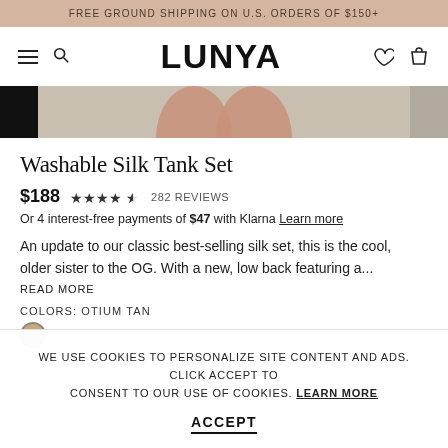FREE GROUND SHIPPING ON U.S. ORDERS OF $150+
LUNYA
[Figure (photo): Product image strip showing model wearing Washable Silk Tank Set in Otium Tan color, cropped view of mid-section]
Washable Silk Tank Set
$188  ★★★★½  282 REVIEWS
Or 4 interest-free payments of $47 with Klarna Learn more
An update to our classic best-selling silk set, this is the cool, older sister to the OG. With a new, low back featuring a...
READ MORE
COLORS: OTIUM TAN
WE USE COOKIES TO PERSONALIZE SITE CONTENT AND ADS. CLICK ACCEPT TO CONSENT TO OUR USE OF COOKIES. LEARN MORE
ACCEPT